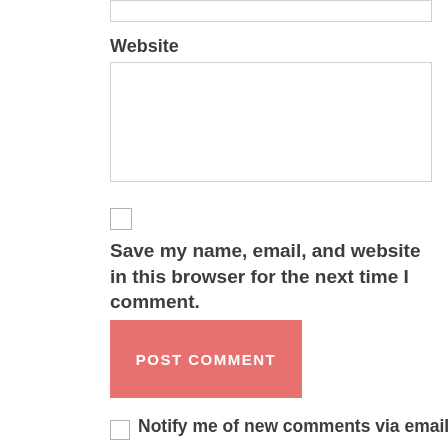Website
Save my name, email, and website in this browser for the next time I comment.
POST COMMENT
Notify me of new comments via email.